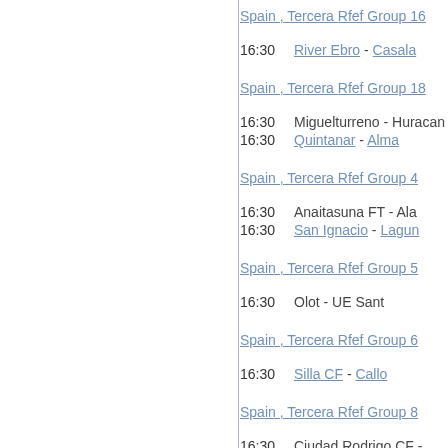Spain , Tercera Rfef Group 16
16:30    River Ebro - Casala...
Spain , Tercera Rfef Group 18
16:30    Miguelturreno - Huracan
16:30    Quintanar - Alma...
Spain , Tercera Rfef Group 4
16:30    Anaitasuna FT - Ala...
16:30    San Ignacio - Lagun...
Spain , Tercera Rfef Group 5
16:30    Olot - UE Sant...
Spain , Tercera Rfef Group 6
16:30    Silla CF - Callo...
Spain , Tercera Rfef Group 8
16:30    Ciudad Rodrigo CF - ...